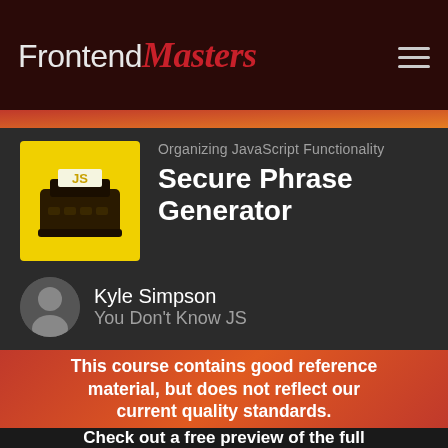Frontend Masters
Organizing JavaScript Functionality
Secure Phrase Generator
Kyle Simpson
You Don't Know JS
This course contains good reference material, but does not reflect our current quality standards.
Check out a free preview of the full